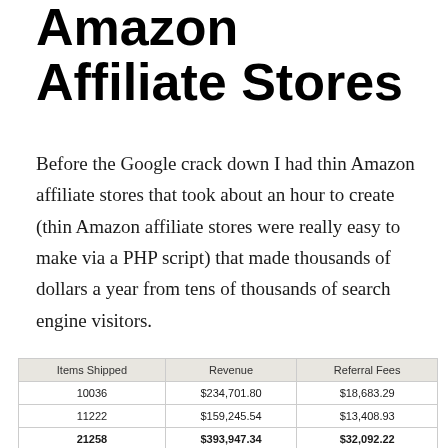Amazon Affiliate Stores
Before the Google crack down I had thin Amazon affiliate stores that took about an hour to create (thin Amazon affiliate stores were really easy to make via a PHP script) that made thousands of dollars a year from tens of thousands of search engine visitors.
| Items Shipped | Revenue | Referral Fees |
| --- | --- | --- |
| 10036 | $234,701.80 | $18,683.29 |
| 11222 | $159,245.54 | $13,408.93 |
| 21258 | $393,947.34 | $32,092.22 |
| -179 | -$4,220.00 | -$321.57 |
| -355 | -$6,748.04 | -$577.42 |
| 20724 | $382,979.30 | $31,193.23 |